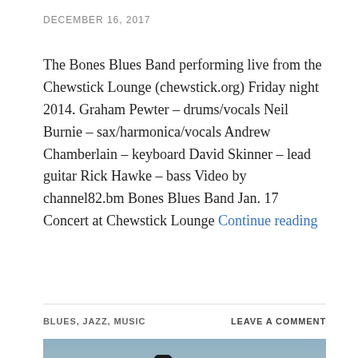DECEMBER 16, 2017
The Bones Blues Band performing live from the Chewstick Lounge (chewstick.org) Friday night 2014. Graham Pewter – drums/vocals Neil Burnie – sax/harmonica/vocals Andrew Chamberlain – keyboard David Skinner – lead guitar Rick Hawke – bass Video by channel82.bm Bones Blues Band Jan. 17 Concert at Chewstick Lounge Continue reading
BLUES, JAZZ, MUSIC
LEAVE A COMMENT
[Figure (photo): Outdoor photo of a person standing in front of palm trees and other trees against a blue sky, with a dark mood filter. UI elements overlay: a dark/light mode toggle in the bottom-left and a scroll-up button in the bottom-right.]